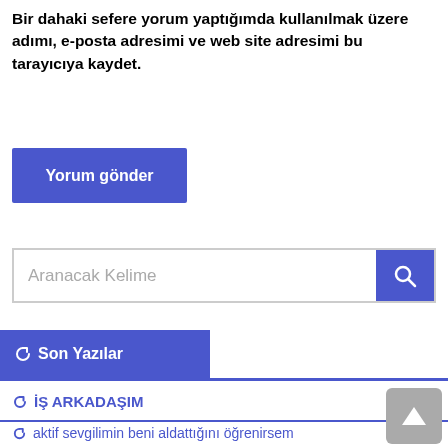Bir dahaki sefere yorum yaptığımda kullanılmak üzere adımı, e-posta adresimi ve web site adresimi bu tarayıcıya kaydet.
Yorum gönder
Aranacak Kelime
Son Yazılar
İŞ ARKADAŞIM
aktif sevgilimin beni aldattığını öğrenirsem